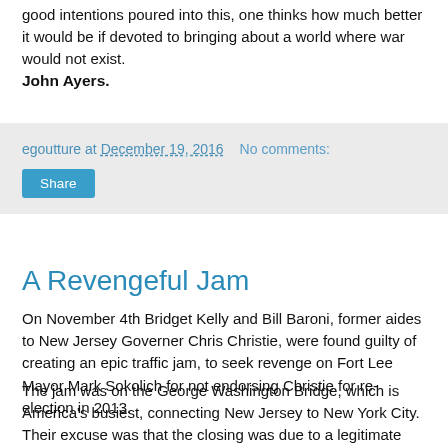good intentions poured into this, one thinks how much better it would be if devoted to bringing about a world where war would not exist.
John Ayers.
egoutture at December 19, 2016   No comments:
Share
A Revengeful Jam
On November 4th Bridget Kelly and Bill Baroni, former aides to New Jersey Governer Chris Christie, were found guilty of creating an epic traffic jam, to seek revenge on Fort Lee Mayor Mark Sokolich for not endorsing Christie for re-election in 2013.
The jam was on the George Washington Bridge, which is America's busiest, connecting New Jersey to New York City. Their excuse was that the closing was due to a legitimate traffic study.
Christie has denied all knowledge of it, but whether he was aware of it